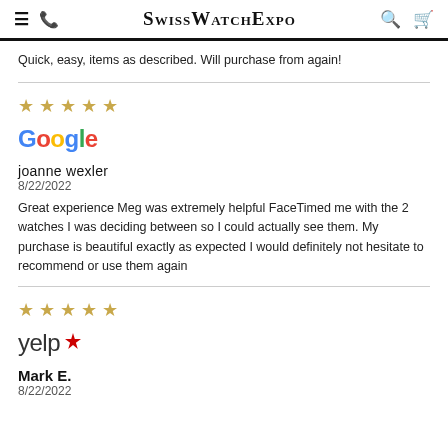SwissWatchExpo
Quick, easy, items as described. Will purchase from again!
★★★★★
[Figure (logo): Google logo]
joanne wexler
8/22/2022
Great experience Meg was extremely helpful FaceTimed me with the 2 watches I was deciding between so I could actually see them. My purchase is beautiful exactly as expected I would definitely not hesitate to recommend or use them again
★★★★★
[Figure (logo): Yelp logo]
Mark E.
8/22/2022